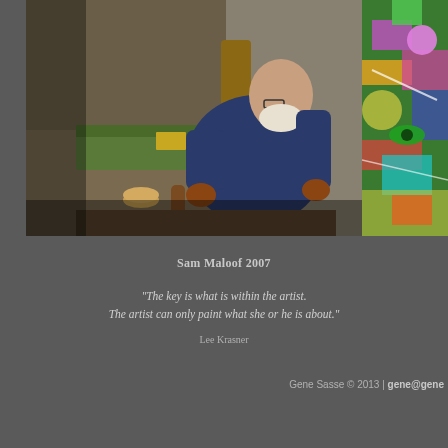[Figure (photo): Elderly man wearing glasses and a dust mask, leaning over and working on a wooden piece in a workshop. He is wearing a blue shirt. Green machinery/equipment is visible in the background. The photo is dark and warm-toned.]
[Figure (photo): Abstract colorful painting with vivid greens, pinks, purples, yellows and other colors in a chaotic, energetic style. Only a partial view is shown on the right side.]
Sam Maloof 2007
"The key is what is within the artist. The artist can only paint what she or he is about."
Lee Krasner
Gene Sasse © 2013 | gene@gene